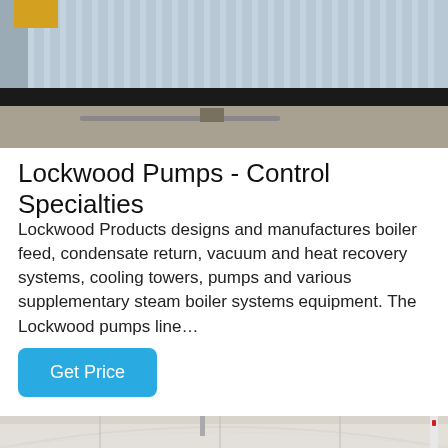[Figure (photo): Industrial building interior showing corrugated metal siding/wall with a yellow pipe visible at top left, concrete floor in foreground, dark baseboard trim along wall bottom.]
Lockwood Pumps - Control Specialties
Lockwood Products designs and manufactures boiler feed, condensate return, vacuum and heat recovery systems, cooling towers, pumps and various supplementary steam boiler systems equipment. The Lockwood pumps line…
[Figure (other): Button labeled 'Get Price' with blue rounded rectangle background and white text.]
[Figure (photo): Interior ceiling of an industrial building, white arched roof structure, with pipes visible including a red-marked pipe on the right side.]